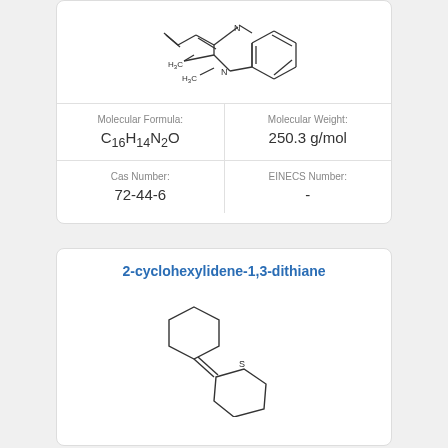[Figure (engineering-diagram): Chemical structure of a quinoxaline derivative with methyl groups and an exocyclic alkene]
| Molecular Formula: | Molecular Weight: |
| --- | --- |
| C16H14N2O | 250.3 g/mol |
| Cas Number: | EINECS Number: |
| --- | --- |
| 72-44-6 | - |
2-cyclohexylidene-1,3-dithiane
[Figure (engineering-diagram): Chemical structure of 2-cyclohexylidene-1,3-dithiane showing a cyclohexane ring connected via double bond to a 1,3-dithiane ring with two sulfur atoms labeled S]